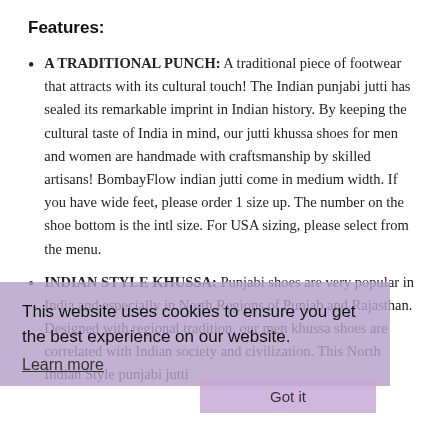Features:
A TRADITIONAL PUNCH: A traditional piece of footwear that attracts with its cultural touch! The Indian punjabi jutti has sealed its remarkable imprint in Indian history. By keeping the cultural taste of India in mind, our jutti khussa shoes for men and women are handmade with craftsmanship by skilled artisans! BombayFlow indian jutti come in medium width. If you have wide feet, please order 1 size up. The number on the shoe bottom is the intl size. For USA sizing, please select from the menu.
INDIAN STYLE KHUSSA: Punjabi shoes are very popular in India and especially in North Regions of Punjab and Rajasthan. Designed with regional tradition, our men khussa shoes are correlated with Indian society and civilization. This North Indian Style punjabi jutti
This website uses cookies to ensure you get the best experience on our website.
Learn more
Got it